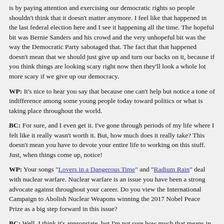is by paying attention and exercising our democratic rights so people shouldn't think that it doesn't matter anymore. I feel like that happened in the last federal election here and I see it happening all the time. The hopeful bit was Bernie Sanders and his crowd and the very unhopeful bit was the way the Democratic Party sabotaged that. The fact that that happened doesn't mean that we should just give up and turn our backs on it, because if you think things are looking scary right now then they'll look a whole lot more scary if we give up our democracy.
WP: It's nice to hear you say that because one can't help but notice a tone of indifference among some young people today toward politics or what is taking place throughout the world.
BC: For sure, and I even get it. I've gone through periods of my life where I felt like it really wasn't worth it. But, how much does it really take? This doesn't mean you have to devote your entire life to working on this stuff. Just, when things come up, notice!
WP: Your songs "Lovers in a Dangerous Time" and "Radium Rain" deal with nuclear warfare. Nuclear warfare is an issue you have been a strong advocate against throughout your career. Do you view the International Campaign to Abolish Nuclear Weapons winning the 2017 Nobel Peace Prize as a big step forward in this issue?
BC: Well, I think it's appropriate, but I'm not sure how much that means in terms of reaching any goal. But it seems to me that we were closer to getting rid of nukes 20 years ago than we are now. But any positive attention that is paid to that issue is good.
WP: It's gotten to the point that I'm afraid to check the news every day because